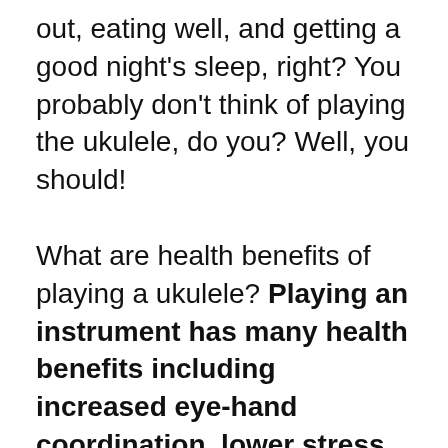out, eating well, and getting a good night's sleep, right? You probably don't think of playing the ukulele, do you? Well, you should!
What are health benefits of playing a ukulele? Playing an instrument has many health benefits including increased eye-hand coordination, lower stress levels, improved brain function, focus, and mental clarity. Other benefits include social